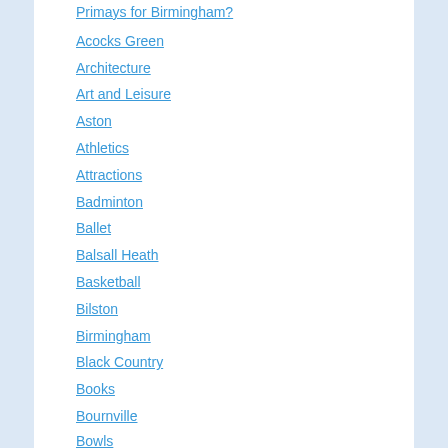Primays for Birmingham?
Acocks Green
Architecture
Art and Leisure
Aston
Athletics
Attractions
Badminton
Ballet
Balsall Heath
Basketball
Bilston
Birmingham
Black Country
Books
Bournville
Bowls